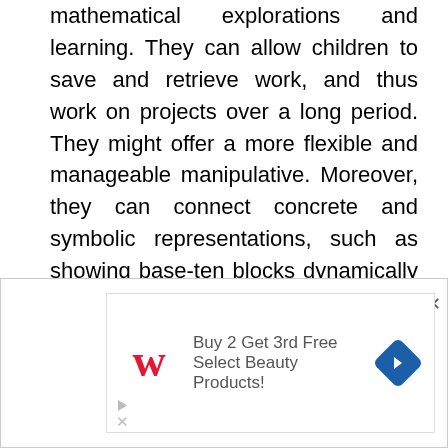mathematical explorations and learning. They can allow children to save and retrieve work, and thus work on projects over a long period. They might offer a more flexible and manageable manipulative. Moreover, they can connect concrete and symbolic representations, such as showing base-ten blocks dynamically linked to numerals. Computers can record and replay children's actions, encouraging children's reflection. In a similar vein, computers can help bring geometry to explicit awareness by asking children to consciously choose
[Figure (other): Walgreens advertisement banner: 'Buy 2 Get 3rd Free Select Beauty Products!' with Walgreens logo and navigation arrow icon]